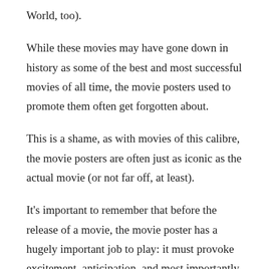World, too).
While these movies may have gone down in history as some of the best and most successful movies of all time, the movie posters used to promote them often get forgotten about.
This is a shame, as with movies of this calibre, the movie posters are often just as iconic as the actual movie (or not far off, at least).
It's important to remember that before the release of a movie, the movie poster has a hugely important job to play: it must provoke excitement, anticipation, and most importantly, a burning desire to see the movie as soon as it's released.